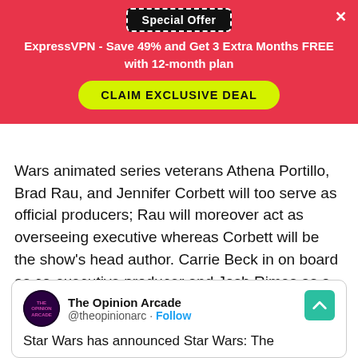[Figure (screenshot): Red promotional banner for ExpressVPN with 'Special Offer' button (dashed border), offer text, and 'CLAIM EXCLUSIVE DEAL' yellow button. Close X in top right.]
Wars animated series veterans Athena Portillo, Brad Rau, and Jennifer Corbett will too serve as official producers; Rau will moreover act as overseeing executive whereas Corbett will be the show's head author. Carrie Beck in on board as co-executive producer and Josh Rimes as a producer. Stream Star Wars: The Clone Wars on Disney+
[Figure (screenshot): Tweet card from The Opinion Arcade (@theopinionarc) with Follow link, partial tweet text: 'Star Wars has announced Star Wars: The'. Scroll-to-top teal button in top right corner.]